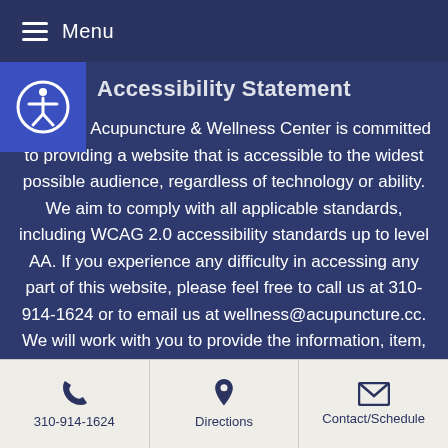Menu
Accessibility Statement
[Figure (illustration): Accessibility icon — person in circle on blue square badge]
Westside Acupuncture & Wellness Center is committed to providing a website that is accessible to the widest possible audience, regardless of technology or ability. We aim to comply with all applicable standards, including WCAG 2.0 accessibility standards up to level AA. If you experience any difficulty in accessing any part of this website, please feel free to call us at 310-914-1624 or to email us at wellness@acupuncture.cc. We will work with you to provide the information, item, or transaction you seek through an alternate communication method or one that is accessible for you consistent with applicable law (for
310-914-1624 | Directions | Contact/Schedule